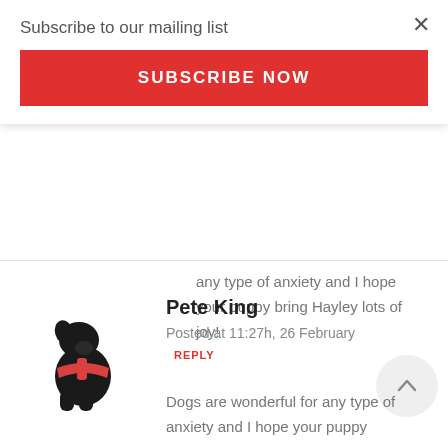Subscribe to our mailing list
SUBSCRIBE NOW
any type of anxiety and I hope your puppy bring Hayley lots of joy!
Pete King
Posted at 11:27h, 26 February REPLY
[Figure (illustration): Black silhouette of a sitting dog wearing a red harness/vest]
Dogs are wonderful for any type of anxiety and I hope your puppy